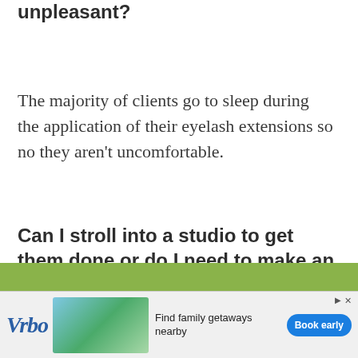unpleasant?
The majority of clients go to sleep during the application of their eyelash extensions so no they aren't uncomfortable.
Can I stroll into a studio to get them done or do I need to make an appointment?
[Figure (other): Green decorative bar and Vrbo advertisement banner at the bottom of the page with logo, beach house image, 'Find family getaways nearby' text, and 'Book early' button]